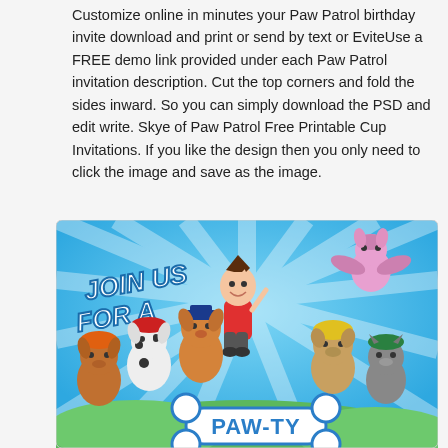Customize online in minutes your Paw Patrol birthday invite download and print or send by text or EviteUse a FREE demo link provided under each Paw Patrol invitation description. Cut the top corners and fold the sides inward. So you can simply download the PSD and edit write. Skye of Paw Patrol Free Printable Cup Invitations. If you like the design then you only need to click the image and save as the image.
[Figure (illustration): Paw Patrol birthday invitation illustration showing characters Ryder, Chase, Marshall, Rubble, Rocky, Skye, and Zuma with text 'JOIN US FOR A' and 'PAW-TY' on a bone-shaped banner against a blue sunburst background.]